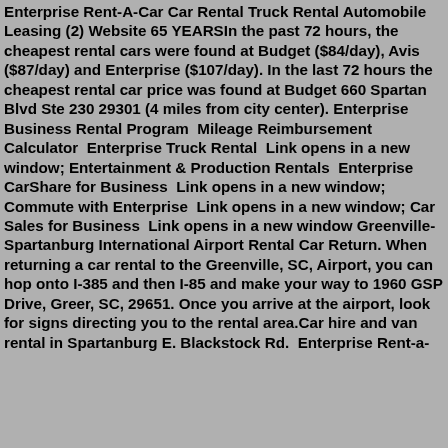Enterprise Rent-A-Car Car Rental Truck Rental Automobile Leasing (2) Website 65 YEARSIn the past 72 hours, the cheapest rental cars were found at Budget ($84/day), Avis ($87/day) and Enterprise ($107/day). In the last 72 hours the cheapest rental car price was found at Budget 660 Spartan Blvd Ste 230 29301 (4 miles from city center). Enterprise Business Rental Program  Mileage Reimbursement Calculator  Enterprise Truck Rental  Link opens in a new window; Entertainment & Production Rentals  Enterprise CarShare for Business  Link opens in a new window; Commute with Enterprise  Link opens in a new window; Car Sales for Business  Link opens in a new window Greenville-Spartanburg International Airport Rental Car Return. When returning a car rental to the Greenville, SC, Airport, you can hop onto I-385 and then I-85 and make your way to 1960 GSP Drive, Greer, SC, 29651. Once you arrive at the airport, look for signs directing you to the rental area.Car hire and van rental in Spartanburg E. Blackstock Rd.  Enterprise Rent-a-